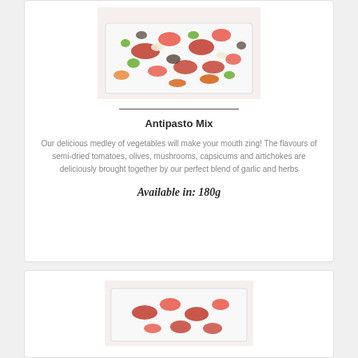[Figure (photo): Photo of antipasto mix in a white rectangular container showing semi-dried tomatoes, olives, mushrooms, capsicums and artichokes]
Antipasto Mix
Our delicious medley of vegetables will make your mouth zing! The flavours of semi-dried tomatoes, olives, mushrooms, capsicums and artichokes are deliciously brought together by our perfect blend of garlic and herbs
Available in: 180g
[Figure (photo): Photo of another food product in a white container showing red food items, partially visible at bottom of page]